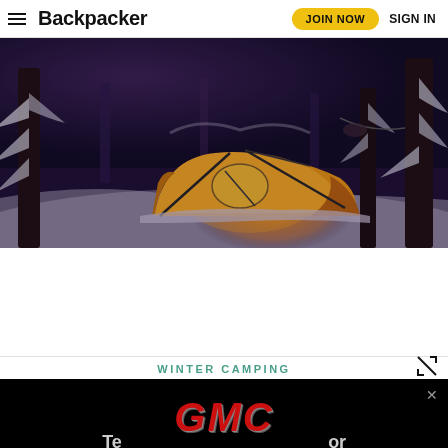Backpacker | JOIN NOW | SIGN IN
[Figure (photo): An illuminated orange tent glowing from inside, set up in a snowy forest at dusk/twilight. Snow-covered pine trees surround the tent, with warm orange light emanating from within contrasting against the cold blue-purple tones of the winter landscape.]
WINTER CAMPING
[Figure (photo): GMC advertisement banner on black background with red chrome GMC logo text and a close (x) button.]
Te...or